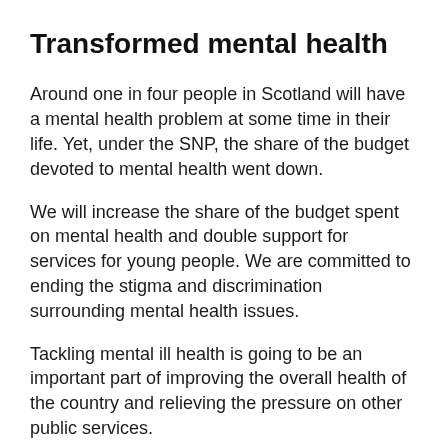Transformed mental health
Around one in four people in Scotland will have a mental health problem at some time in their life. Yet, under the SNP, the share of the budget devoted to mental health went down.
We will increase the share of the budget spent on mental health and double support for services for young people. We are committed to ending the stigma and discrimination surrounding mental health issues.
Tackling mental ill health is going to be an important part of improving the overall health of the country and relieving the pressure on other public services.